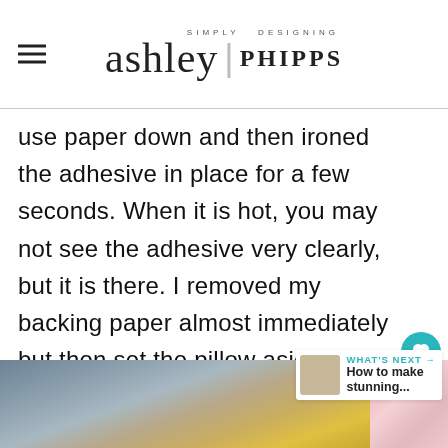SIMPLY DESIGNING ashley | PHIPPS
use paper down and then ironed the adhesive in place for a few seconds. When it is hot, you may not see the adhesive very clearly, but it is there. I removed my backing paper almost immediately but then set the pillow aside to cool for a bit before moving on.
[Figure (photo): Bottom portion of page showing a fabric/pillow crafting project photo on the left and a floral/pink pattern photo on the right, with a 'What's Next' recommendation widget showing 'How to make stunning...']